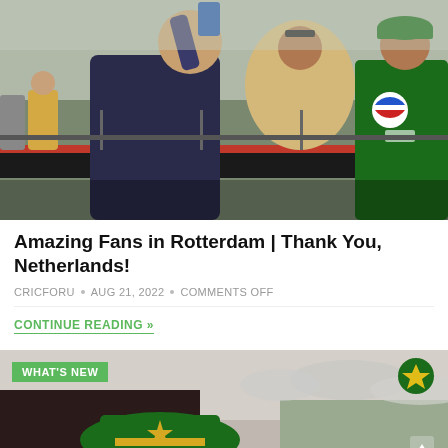[Figure (photo): People taking a selfie at a cricket event in Rotterdam; a man in dark shirt takes selfie with a woman in beige hijab and a cricket player in green Pakistan kit with Pepsi logo; crowd and stadium in background]
Amazing Fans in Rotterdam | Thank You, Netherlands!
CRICFORU • AUG 21, 2022 • COMMENTS OFF
CONTINUE READING »
[Figure (photo): Cricket stadium scene with WHAT'S NEW badge overlay and a green logo in the top right; partial view of cricket players and overcast sky]